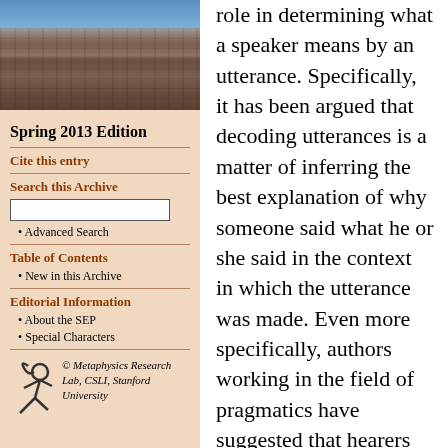[Figure (photo): Photo of a stone university building with gothic architecture under a blue sky with clouds]
Spring 2013 Edition
Cite this entry
Search this Archive
Advanced Search
Table of Contents
New in this Archive
Editorial Information
About the SEP
Special Characters
[Figure (logo): Metaphysics Research Lab logo with stylized figure]
© Metaphysics Research Lab, CSLI, Stanford University
role in determining what a speaker means by an utterance. Specifically, it has been argued that decoding utterances is a matter of inferring the best explanation of why someone said what he or she said in the context in which the utterance was made. Even more specifically, authors working in the field of pragmatics have suggested that hearers invoke the Gricean maxims of conversation to help them work out the best explanation of a speaker's utterance whenever the semantic content of the utterance is insufficiently informative for the purposes of the conversation, or is too informative, or off-topic, or